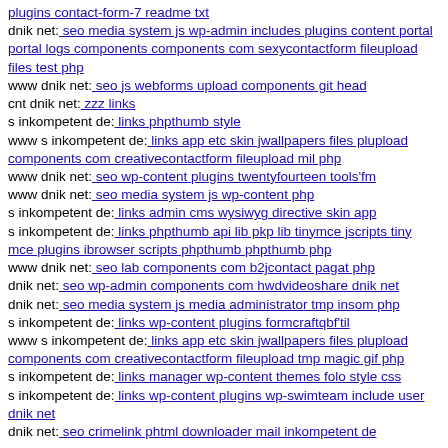plugins contact-form-7 readme txt
dnik net: seo media system js wp-admin includes plugins content portal portal logs components components com sexycontactform fileupload files test php
www dnik net: seo js webforms upload components git head
cnt dnik net: zzz links
s inkompetent de: links phpthumb style
www s inkompetent de: links app etc skin jwallpapers files plupload components com creativecontactform fileupload mil php
www dnik net: seo wp-content plugins twentyfourteen tools'fm
www dnik net: seo media system js wp-content php
s inkompetent de: links admin cms wysiwyg directive skin app
s inkompetent de: links phpthumb api lib pkp lib tinymce jscripts tiny mce plugins ibrowser scripts phpthumb phpthumb php
www dnik net: seo lab components com b2jcontact pagat php
dnik net: seo wp-admin components com hwdvideoshare dnik net
dnik net: seo media system js media administrator tmp insom php
s inkompetent de: links wp-content plugins formcraftqbf'til
www s inkompetent de: links app etc skin jwallpapers files plupload components com creativecontactform fileupload tmp magic gif php
s inkompetent de: links manager wp-content themes folo style css
s inkompetent de: links wp-content plugins wp-swimteam include user dnik net
dnik net: seo crimelink phtml downloader mail inkompetent de